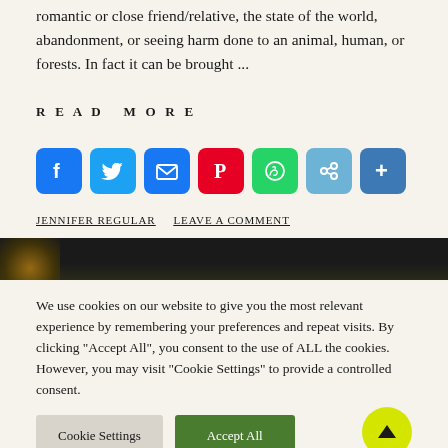romantic or close friend/relative, the state of the world, abandonment, or seeing harm done to an animal, human, or forests. In fact it can be brought ...
READ MORE
[Figure (infographic): Row of social media share icons: Facebook (blue), Twitter (light blue), Email (blue), Pinterest (red), WhatsApp (green), Copy Link (light blue), Share More (dark blue)]
JENNIFER REGULAR   LEAVE A COMMENT
[Figure (photo): Dark stripe with warm amber/orange light glow on the left side]
We use cookies on our website to give you the most relevant experience by remembering your preferences and repeat visits. By clicking "Accept All", you consent to the use of ALL the cookies. However, you may visit "Cookie Settings" to provide a controlled consent.
Cookie Settings   Accept All